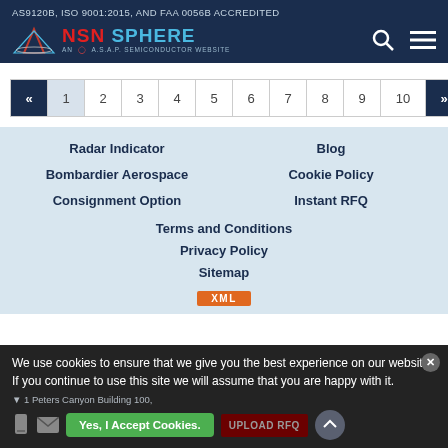AS9120B, ISO 9001:2015, AND FAA 0056B ACCREDITED
[Figure (logo): NSN Sphere logo - AN A.S.A.P. SEMICONDUCTOR WEBSITE with search and menu icons]
Pagination: « 1 2 3 4 5 6 7 8 9 10 »
Radar Indicator | Blog | Bombardier Aerospace | Cookie Policy | Consignment Option | Instant RFQ
Terms and Conditions
Privacy Policy
Sitemap
XML
We use cookies to ensure that we give you the best experience on our website. If you continue to use this site we will assume that you are happy with it.
1 Peters Canyon Building 100,
Yes, I Accept Cookies. | UPLOAD RFQ